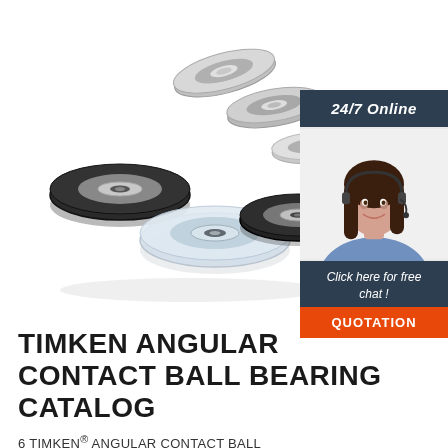[Figure (photo): Multiple angular contact ball bearings of different types and colors (metallic silver, black rubber-coated, and transparent) displayed on a white background]
[Figure (photo): Sidebar showing a customer service representative woman with headset and text '24/7 Online', 'Click here for free chat!', and a 'QUOTATION' button on dark blue and orange panels]
TIMKEN ANGULAR CONTACT BALL BEARING CATALOG
6 TIMKEN® ANGULAR CONTACT BALL